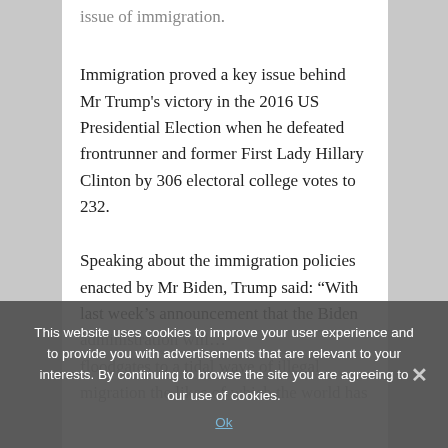issue of immigration.
Immigration proved a key issue behind Mr Trump's victory in the 2016 US Presidential Election when he defeated frontrunner and former First Lady Hillary Clinton by 306 electoral college votes to 232.
Speaking about the immigration policies enacted by Mr Biden, Trump said: “With last week’s announcement that the Biden administration will …
This website uses cookies to improve your user experience and to provide you with advertisements that are relevant to your interests. By continuing to browse the site you are agreeing to our use of cookies.
Ok